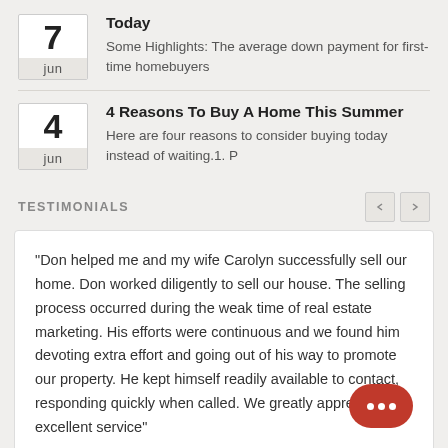7 jun — Today — Some Highlights: The average down payment for first-time homebuyers
4 jun — 4 Reasons To Buy A Home This Summer — Here are four reasons to consider buying today instead of waiting.1. P
TESTIMONIALS
"Don helped me and my wife Carolyn successfully sell our home. Don worked diligently to sell our house. The selling process occurred during the weak time of real estate marketing. His efforts were continuous and we found him devoting extra effort and going out of his way to promote our property. He kept himself readily available to contact, responding quickly when called. We greatly apprecia... excellent service"